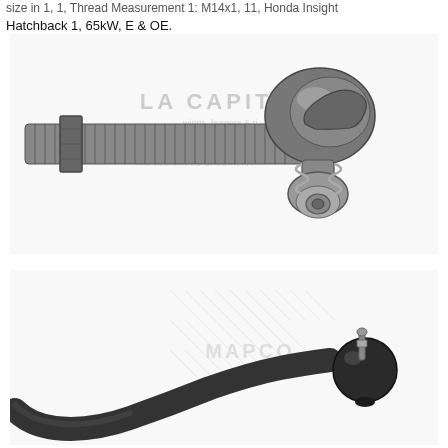size in 1, 1, Thread Measurement 1: M14x1, 11, Honda Insight Hatchback 1, 65kW, E & OE.
[Figure (photo): Tie rod end component shown with threaded shaft and ball joint end, with First Line branding watermark overlay showing 'THE ALL MAKES SPECIALIST']
[Figure (photo): Tie rod end component shown as a complete unit with curved arm and ball joint, with Mapco branding watermark overlay]